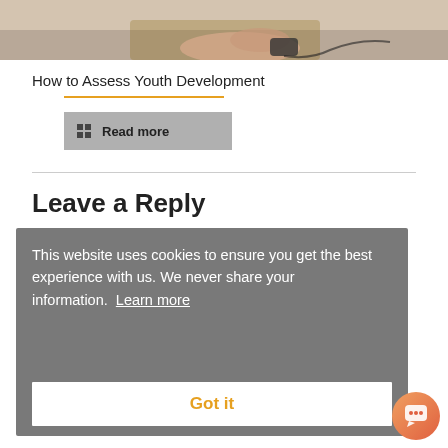[Figure (photo): Person using a computer mouse on a desk, partial view of hands and desk surface]
How to Assess Youth Development
[Figure (other): Read more button with grid icon]
Leave a Reply
This website uses cookies to ensure you get the best experience with us. We never share your information. Learn more
Got it